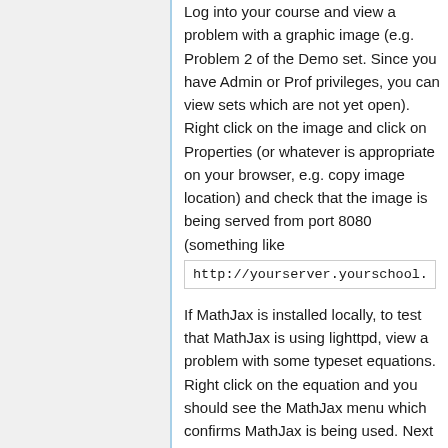Log into your course and view a problem with a graphic image (e.g. Problem 2 of the Demo set. Since you have Admin or Prof privileges, you can view sets which are not yet open). Right click on the image and click on Properties (or whatever is appropriate on your browser, e.g. copy image location) and check that the image is being served from port 8080 (something like
http://yourserver.yourschool.
If MathJax is installed locally, to test that MathJax is using lighttpd, view a problem with some typeset equations. Right click on the equation and you should see the MathJax menu which confirms MathJax is being used. Next look at the source code for the page (e.g. right click on most browsers and select "View page source") and in the